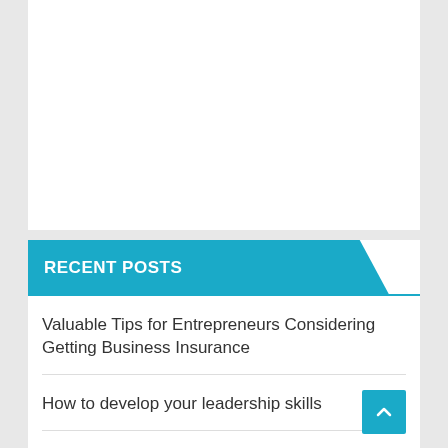RECENT POSTS
Valuable Tips for Entrepreneurs Considering Getting Business Insurance
How to develop your leadership skills
PTE Preparation Books and other Materials
ภภภภ ภภภภภภภภภภภภภ ภภภภภภภภภภภภภภภภภภภภภภภภภภภภ